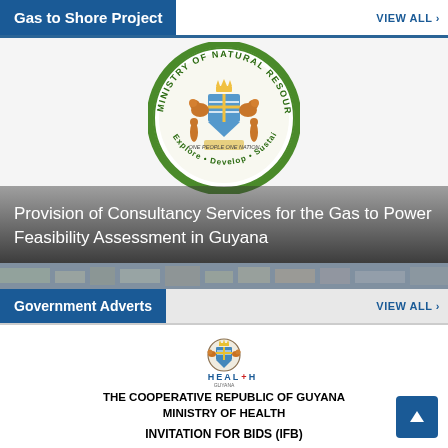Gas to Shore Project
VIEW ALL ›
[Figure (illustration): Ministry of Natural Resources circular seal/coat of arms of Guyana with text 'Explore · Develop · Sustain' around the bottom]
Provision of Consultancy Services for the Gas to Power Feasibility Assessment in Guyana
[Figure (photo): Aerial photograph of a city/town in Guyana]
Government Adverts
VIEW ALL ›
[Figure (logo): Ministry of Health Guyana logo with HEALTH text and coat of arms]
THE COOPERATIVE REPUBLIC OF GUYANA
MINISTRY OF HEALTH
INVITATION FOR BIDS (IFB)